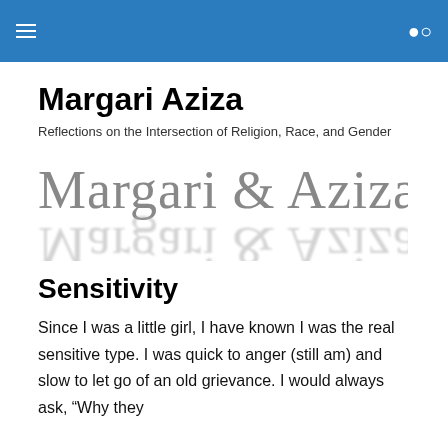Margari Aziza [navigation header with hamburger menu and search icon]
Margari Aziza
Reflections on the Intersection of Religion, Race, and Gender
[Figure (logo): Margari & Aziza logo text in serif font with reflection effect below]
Sensitivity
Since I was a little girl, I have known I was the real sensitive type. I was quick to anger (still am) and slow to let go of an old grievance. I would always ask, “Why they